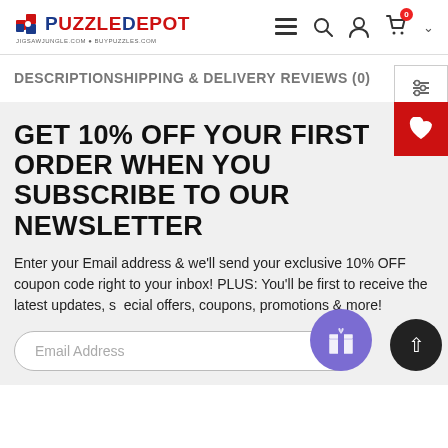PuzzleDepot — JIGSAWJUNGLE.COM + BUYPUZZLES.COM
DESCRIPTIONSHIPPING & DELIVERY
REVIEWS (0)
GET 10% OFF YOUR FIRST ORDER WHEN YOU SUBSCRIBE TO OUR NEWSLETTER
Enter your Email address & we'll send your exclusive 10% OFF coupon code right to your inbox! PLUS: You'll be first to receive the latest updates, special offers, coupons, promotions & more!
Email Address